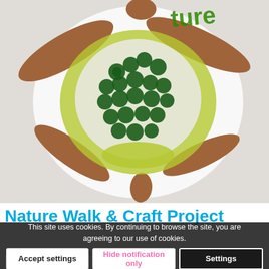[Figure (photo): A turtle craft made from natural materials — leaves (clover, yellow-green), bark pieces arranged as flippers, and twigs on a white background. The word 'Nature' is visible in green text at the top right. A watermark 'naturalkids.com' is visible in the lower left corner.]
Nature Walk & Craft Project
This site uses cookies. By continuing to browse the site, you are agreeing to our use of cookies.
Accept settings | Hide notification only | Settings